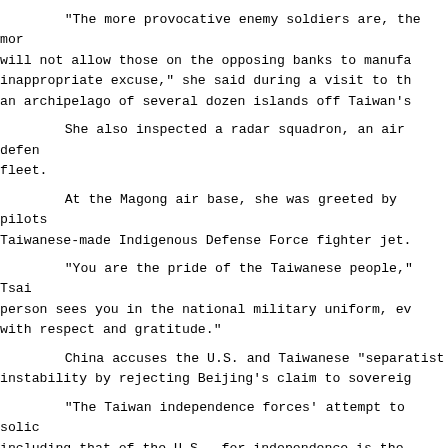"The more provocative enemy soldiers are, the more we will not allow those on the opposing banks to manufacture an inappropriate excuse," she said during a visit to the Penghu Islands, an archipelago of several dozen islands off Taiwan's west coast.
She also inspected a radar squadron, an air defense unit and a naval fleet.
At the Magong air base, she was greeted by pilots who fly the domestically Taiwanese-made Indigenous Defense Force fighter jet.
"You are the pride of the Taiwanese people," Tsai said. "Every person sees you in the national military uniform, every person greets you with respect and gratitude."
China accuses the U.S. and Taiwanese "separatist" forces of fomenting instability by rejecting Beijing's claim to sovereignty over the island.
"The Taiwan independence forces' attempt to solicit foreign support, including that of the U.S., for independence is the main source of tensions across the Taiwan Strait," Foreign Ministry spokesperson Zhao Lijian said at a daily briefing in Beijing.
Zhao also criticized the visit of Guatemalan Foreign Minister to Taiwan on Tuesday.
"The Taiwanese ... authority has been using the so-called diplomatic ties for political manipulation. These so-called